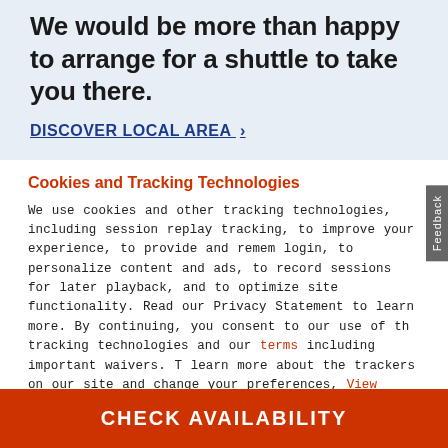We would be more than happy to arrange for a shuttle to take you there.
DISCOVER LOCAL AREA ›
Cookies and Tracking Technologies
We use cookies and other tracking technologies, including session replay tracking, to improve your experience, to provide and remember login, to personalize content and ads, to record sessions for later playback, and to optimize site functionality. Read our Privacy Statement to learn more. By continuing, you consent to our use of the tracking technologies and our terms including important waivers. To learn more about the trackers on our site and change your preferences, View Settings.
ACCEPT
CHECK AVAILABILITY